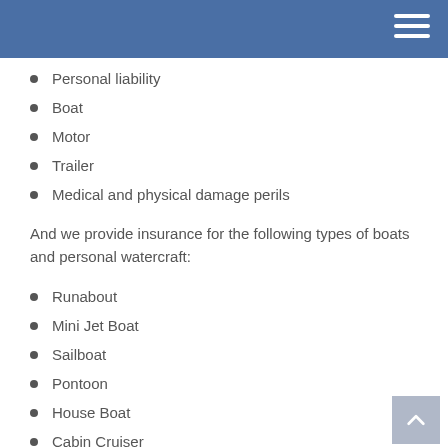Personal liability
Boat
Motor
Trailer
Medical and physical damage perils
And we provide insurance for the following types of boats and personal watercraft:
Runabout
Mini Jet Boat
Sailboat
Pontoon
House Boat
Cabin Cruiser
Other Fishing Boat
Bass Boat
Many others, let's talk